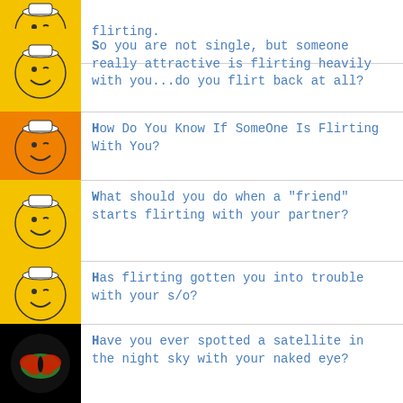flirting.
So you are not single, but someone really attractive is flirting heavily with you...do you flirt back at all?
How Do You Know If SomeOne Is Flirting With You?
What should you do when a "friend" starts flirting with your partner?
Has flirting gotten you into trouble with your s/o?
Have you ever spotted a satellite in the night sky with your naked eye?
Do you ever see a picture of someone of the past and feel